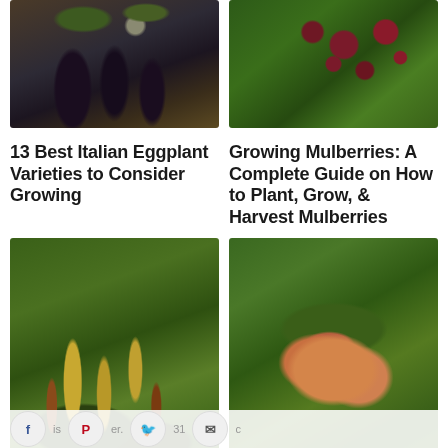[Figure (photo): Photo of dark purple Italian eggplants with green stems on a wooden surface]
13 Best Italian Eggplant Varieties to Consider Growing
[Figure (photo): Photo of dark red mulberries on green leafy branch]
Growing Mulberries: A Complete Guide on How to Plant, Grow, & Harvest Mulberries
[Figure (photo): Photo of pokeweed plant with green leaves and flower/berry spikes]
Pokeweed: How to Grow, Care for, and Use This
[Figure (photo): Photo of mangoes hanging on a mango tree with green leaves]
How to Grow Mango Trees in Your Home Orchard